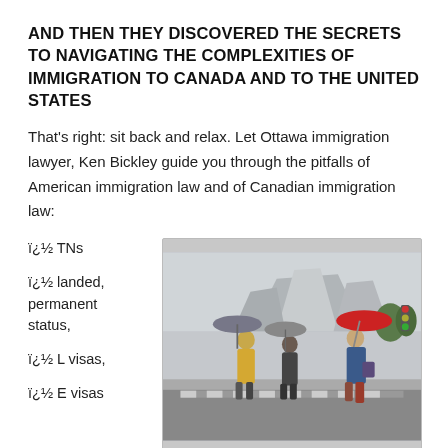AND THEN THEY DISCOVERED THE SECRETS TO NAVIGATING THE COMPLEXITIES OF IMMIGRATION TO CANADA AND TO THE UNITED STATES
That's right: sit back and relax. Let Ottawa immigration lawyer, Ken Bickley guide you through the pitfalls of American immigration law and of Canadian immigration law:
ï¿½ TNs
ï¿½ landed, permanent status,
ï¿½ L visas,
ï¿½ E visas
[Figure (photo): Three women crossing a street in the rain with umbrellas, modern architecture building in background]